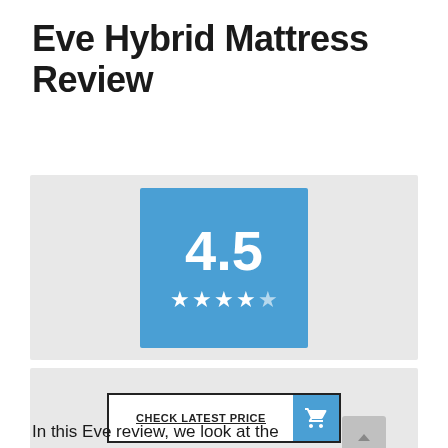Eve Hybrid Mattress Review
[Figure (infographic): Blue square rating badge showing 4.5 score with 4.5 stars (white stars, last star partially filled) on a blue background, set on a light grey panel]
[Figure (infographic): CHECK LATEST PRICE button with shopping cart icon on blue background, inside a bordered button on a light grey panel. A grey scroll-to-top arrow button is visible at bottom right.]
In this Eve review, we look at the